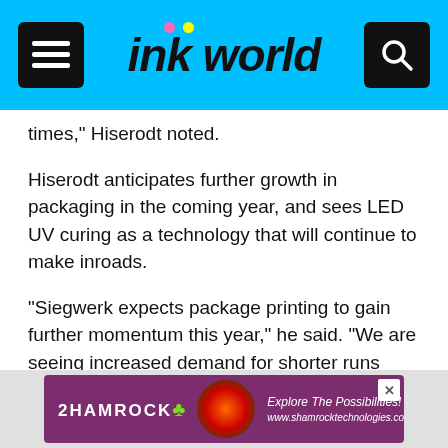ink world
times,” Hiserodt noted.
Hiserodt anticipates further growth in packaging in the coming year, and sees LED UV curing as a technology that will continue to make inroads.
“Siegwerk expects package printing to gain further momentum this year,” he said. “We are seeing increased demand for shorter runs driven by brand owners desiring regionalization and personalization as well as effect varnishes and special finishing of their product packaging. As part of our differentiation strategy, Siegwerk will continue to work closely with customers to develop optimal solutions that fit their individual needs.
[Figure (other): Shamrock Technologies advertisement banner with purple background, colorful circular graphic, and text: Explore The Possibilities! www.shamrocktechnologies.com]